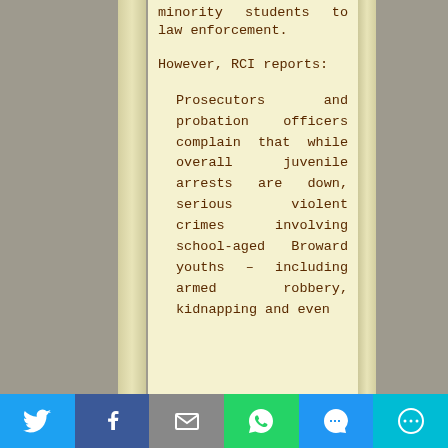minority students to law enforcement.
However, RCI reports:
Prosecutors and probation officers complain that while overall juvenile arrests are down, serious violent crimes involving school-aged Broward youths – including armed robbery, kidnapping and even
[Figure (other): Social media sharing bar with Twitter, Facebook, Email, WhatsApp, SMS, and More buttons]